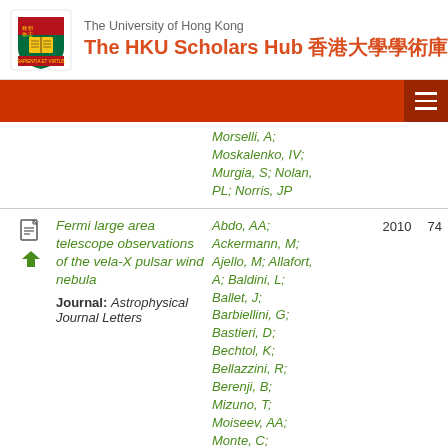The University of Hong Kong — The HKU Scholars Hub 香港大學學術庫
Morselli, A; Moskalenko, IV; Murgia, S; Nolan, PL; Norris, JP
Fermi large area telescope observations of the vela-X pulsar wind nebula Journal: Astrophysical Journal Letters | Authors: Abdo, AA; Ackermann, M; Ajello, M; Allafort, A; Baldini, L; Ballet, J; Barbiellini, G; Bastieri, D; Bechtol, K; Bellazzini, R; Berenji, B; Mizuno, T; Moiseev, AA; Monte, C; | Year: 2010 | Citations: 74